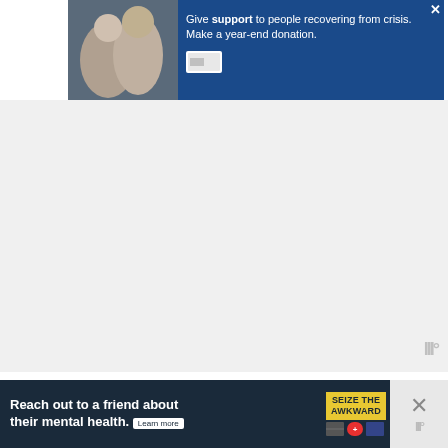[Figure (screenshot): Blue banner advertisement: 'Give support to people recovering from crisis. Make a year-end donation.' with photo of two people embracing and a close button (X)]
[Figure (photo): White/light gray empty advertisement area]
Doesn't this all look so fun and happy on my porch? I love it!
[Figure (photo): Exterior photo of a brick porch/house with a white door and roof overhang visible]
[Figure (screenshot): What's Next panel showing 'DIY Beverage Stand' with thumbnail image]
[Figure (screenshot): Bottom advertisement: 'Reach out to a friend about their mental health. Learn more' with 'SEIZE THE AWKWARD' badge and close button]